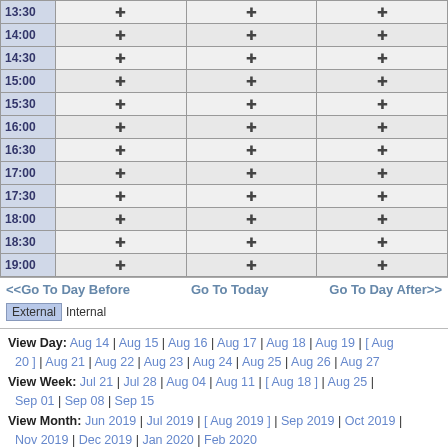| Time | Column1 | Column2 | Column3 |
| --- | --- | --- | --- |
| 13:30 | + | + | + |
| 14:00 | + | + | + |
| 14:30 | + | + | + |
| 15:00 | + | + | + |
| 15:30 | + | + | + |
| 16:00 | + | + | + |
| 16:30 | + | + | + |
| 17:00 | + | + | + |
| 17:30 | + | + | + |
| 18:00 | + | + | + |
| 18:30 | + | + | + |
| 19:00 | + | + | + |
<<Go To Day Before   Go To Today   Go To Day After>>
External Internal
View Day: Aug 14 | Aug 15 | Aug 16 | Aug 17 | Aug 18 | Aug 19 | [ Aug 20 ] | Aug 21 | Aug 22 | Aug 23 | Aug 24 | Aug 25 | Aug 26 | Aug 27
View Week: Jul 21 | Jul 28 | Aug 04 | Aug 11 | [ Aug 18 ] | Aug 25 | Sep 01 | Sep 08 | Sep 15
View Month: Jun 2019 | Jul 2019 | [ Aug 2019 ] | Sep 2019 | Oct 2019 | Nov 2019 | Dec 2019 | Jan 2020 | Feb 2020
Print Preview